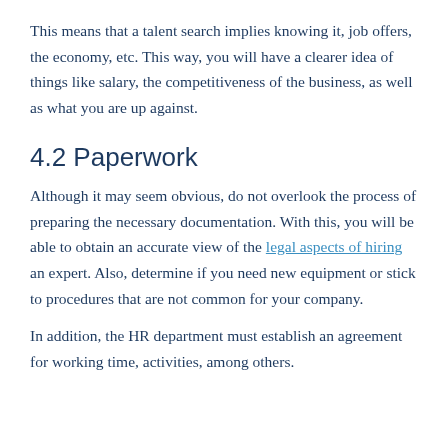This means that a talent search implies knowing it, job offers, the economy, etc. This way, you will have a clearer idea of things like salary, the competitiveness of the business, as well as what you are up against.
4.2 Paperwork
Although it may seem obvious, do not overlook the process of preparing the necessary documentation. With this, you will be able to obtain an accurate view of the legal aspects of hiring an expert. Also, determine if you need new equipment or stick to procedures that are not common for your company.
In addition, the HR department must establish an agreement for working time, activities, among others.